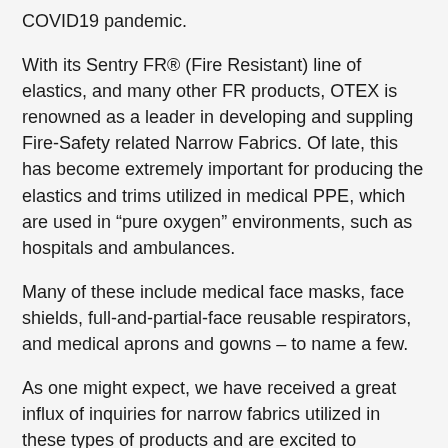COVID19 pandemic.
With its Sentry FR® (Fire Resistant) line of elastics, and many other FR products, OTEX is renowned as a leader in developing and suppling Fire-Safety related Narrow Fabrics. Of late, this has become extremely important for producing the elastics and trims utilized in medical PPE, which are used in “pure oxygen” environments, such as hospitals and ambulances.
Many of these include medical face masks, face shields, full-and-partial-face reusable respirators, and medical aprons and gowns – to name a few.
As one might expect, we have received a great influx of inquiries for narrow fabrics utilized in these types of products and are excited to collaborate with other companies, in order to combat the spread of this virus. We wish to extend an invitation to other producers of related PPE and Protective apparel to contact us with